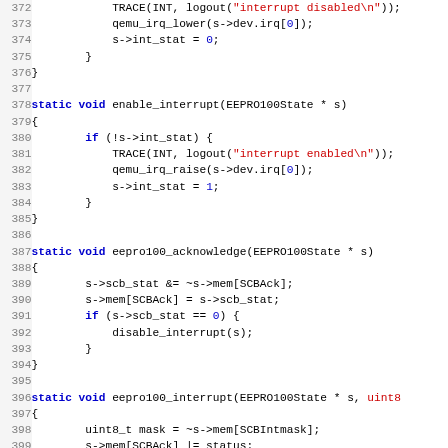[Figure (screenshot): Source code listing in C showing functions disable_interrupt, enable_interrupt, eepro100_acknowledge, and eepro100_interrupt with syntax highlighting. Line numbers 372-403 visible.]